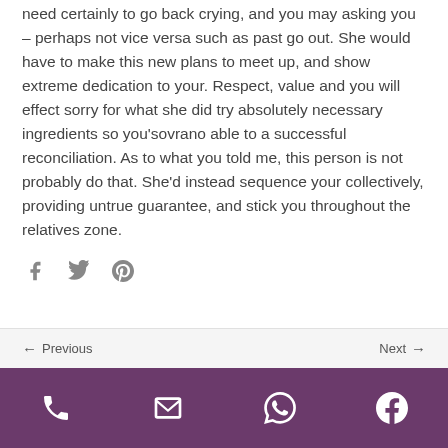need certainly to go back crying, and you may asking you – perhaps not vice versa such as past go out. She would have to make this new plans to meet up, and show extreme dedication to your. Respect, value and you will effect sorry for what she did try absolutely necessary ingredients so you’sovrano able to a successful reconciliation. As to what you told me, this person is not probably do that. She’d instead sequence your collectively, providing untrue guarantee, and stick you throughout the relatives zone.
[Figure (infographic): Social share icons: Facebook (f), Twitter bird, Pinterest (P)]
← Previous    Next →
Purple bottom bar with phone, email, WhatsApp, and Facebook icons